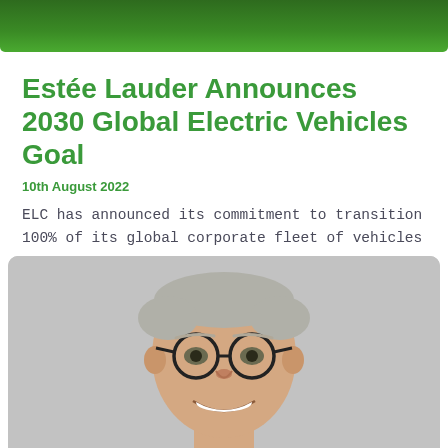[Figure (photo): Green background banner image at the top of the page]
Estée Lauder Announces 2030 Global Electric Vehicles Goal
10th August 2022
ELC has announced its commitment to transition 100% of its global corporate fleet of vehicles
[Figure (photo): Portrait photo of a smiling man with grey hair and black round glasses, on a grey background]